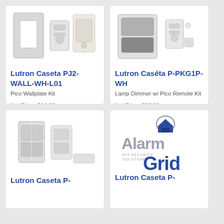[Figure (photo): Product image of Lutron Caseta PJ2-WALL-WH-L01 Pico Wallplate Kit showing a white wall plate, small remote, and mounting hardware]
Lutron Caseta PJ2-WALL-WH-L01
Pico Wallplate Kit
List Price: $44.00
Our Price: $30.99
[Figure (photo): Product image of Lutron Caseta P-PKG1P-WH showing a lamp dimmer module and pico remote]
Lutron Caséta P-PKG1P-WH
Lamp Dimmer w/ Pico Remote Kit
List Price: $90.00
Our Price: $62.99
[Figure (photo): Product image of Lutron Caseta P- (truncated) showing two white light switch panels]
Lutron Caseta P-
[Figure (logo): Alarm Grid logo with DIY Security Solutions tagline and house/shield icon]
Lutron Caseta P-